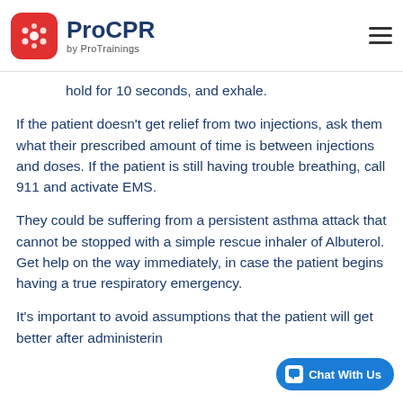ProCPR by ProTrainings
hold for 10 seconds, and exhale.
If the patient doesn't get relief from two injections, ask them what their prescribed amount of time is between injections and doses. If the patient is still having trouble breathing, call 911 and activate EMS.
They could be suffering from a persistent asthma attack that cannot be stopped with a simple rescue inhaler of Albuterol. Get help on the way immediately, in case the patient begins having a true respiratory emergency.
It's important to avoid assumptions that the patient will get better after administering